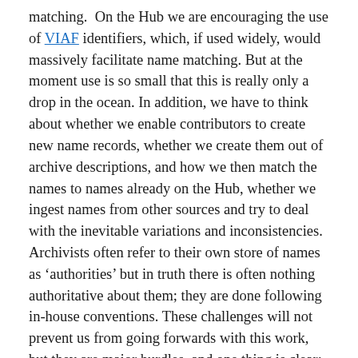matching. On the Hub we are encouraging the use of VIAF identifiers, which, if used widely, would massively facilitate name matching. But at the moment use is so small that this is really only a drop in the ocean. In addition, we have to think about whether we enable contributors to create new name records, whether we create them out of archive descriptions, and how we then match the names to names already on the Hub, whether we ingest names from other sources and try to deal with the inevitable variations and inconsistencies. Archivists often refer to their own store of names as ‘authorities’ but in truth there is often nothing authoritative about them; they are done following in-house conventions. These challenges will not prevent us from going forwards with this work, but they are major hurdles, and one thing is clear: we will not end up with a perfect situation. Researchers will look for a name such as ‘Arthur Wellesley’ or ‘Duke of Wellington’ and will probably get several results. Our aim is to reduce the number of results as much as we can, but reducing all variations to a single result is not going to happen for many individuals, and probably for some organisations. Try searching SNAC (http://snaccooperative.org/), a name-based